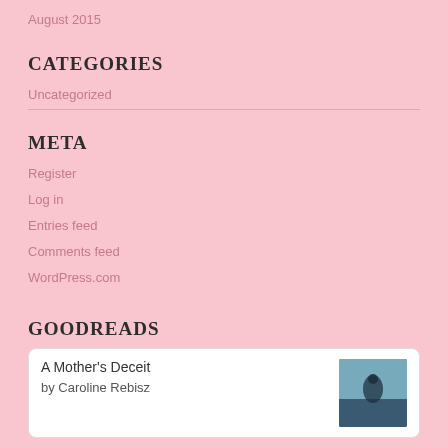August 2015
CATEGORIES
Uncategorized
META
Register
Log in
Entries feed
Comments feed
WordPress.com
GOODREADS
A Mother's Deceit
by Caroline Rebisz